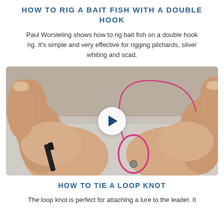HOW TO RIG A BAIT FISH WITH A DOUBLE HOOK
Paul Worsteling shows how to rig bait fish on a double hook rig. It's simple and very effective for rigging pilchards, silver whiting and scad.
[Figure (photo): Video thumbnail showing two hands rigging a bait fish with a double hook, pink fishing line visible, with a circular play button overlay in the center.]
HOW TO TIE A LOOP KNOT
The loop knot is perfect for attaching a lure to the leader. It